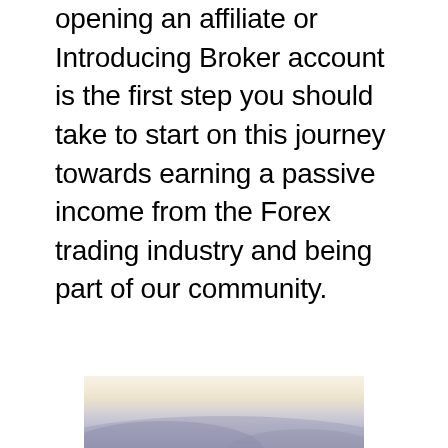opening an affiliate or Introducing Broker account is the first step you should take to start on this journey towards earning a passive income from the Forex trading industry and being part of our community.
[Figure (photo): Partial landscape photo showing a misty or hazy scene, cropped at the bottom of the page]